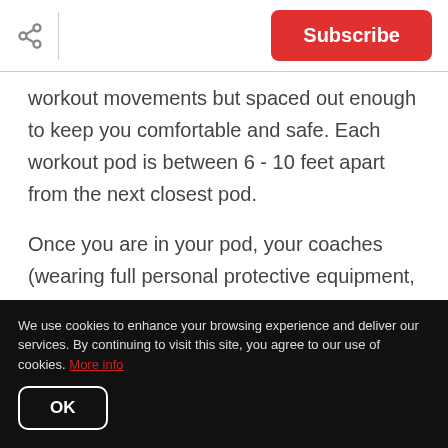Subscribe
workout movements but spaced out enough to keep you comfortable and safe. Each workout pod is between 6 - 10 feet apart from the next closest pod.
Once you are in your pod, your coaches (wearing full personal protective equipment, PPE) will be by to give you your own fully cleaned equipment for class.
We use cookies to enhance your browsing experience and deliver our services. By continuing to visit this site, you agree to our use of cookies. More info
OK